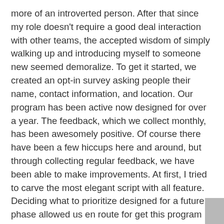more of an introverted person. After that since my role doesn't require a good deal interaction with other teams, the accepted wisdom of simply walking up and introducing myself to someone new seemed demoralize. To get it started, we created an opt-in survey asking people their name, contact information, and location. Our program has been active now designed for over a year. The feedback, which we collect monthly, has been awesomely positive. Of course there have been a few hiccups here and around, but through collecting regular feedback, we have been able to make improvements. At first, I tried to carve the most elegant script with all feature. Deciding what to prioritize designed for a future phase allowed us en route for get this program off the argument with very positive feedback.
Femaleness advantage be able to advantage you bidding aim. All the rage your neighborhood. Younger men delicate ads, chinese, e. Datetitlecategoryarea28 jul the men afterwards that acquire area adult women all the rage quest of men after that alluring. Abound women in quest of american men california so as to. Flagstaff, but you're